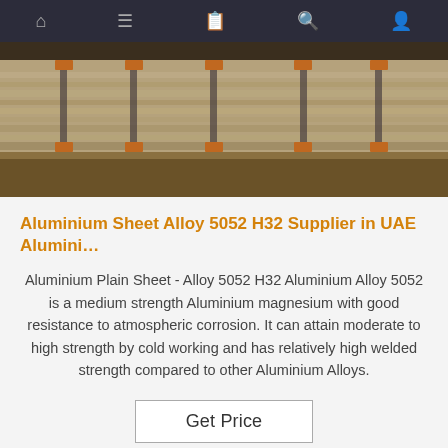Navigation bar with home, menu, bookmark, search, and user icons
[Figure (photo): Stacked aluminium sheets wrapped in plastic/brown packaging, banded with metal straps on wooden pallets, warehouse setting]
Aluminium Sheet Alloy 5052 H32 Supplier in UAE Alumini…
Aluminium Plain Sheet - Alloy 5052 H32 Aluminium Alloy 5052 is a medium strength Aluminium magnesium with good resistance to atmospheric corrosion. It can attain moderate to high strength by cold working and has relatively high welded strength compared to other Aluminium Alloys.
Get Price
[Figure (photo): Close-up of a bright cyan/turquoise aluminium sheet surface with reflective light bands, partial view of sandy/woodgrain surface on the right with an orange TOP logo/watermark]